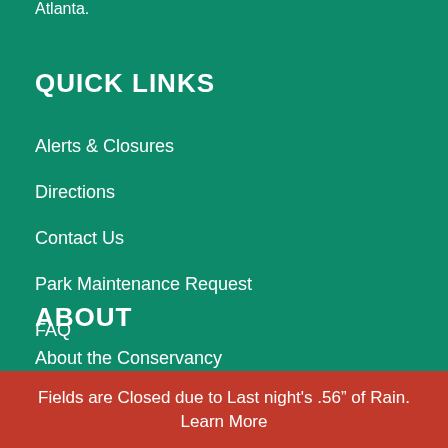Atlanta.
QUICK LINKS
Alerts & Closures
Directions
Contact Us
Park Maintenance Request
FAQ
ABOUT
About the Conservancy
Fields are Closed due to Last night's .56" of Rain.
Learn More